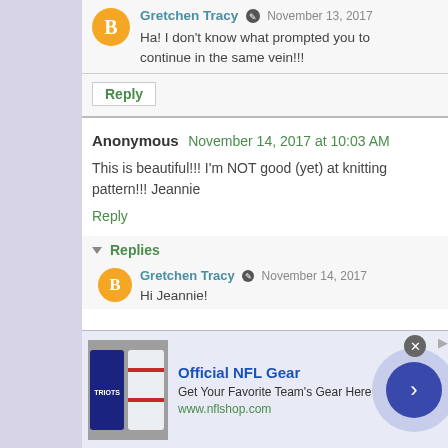Gretchen Tracy · November 13, 2017 — Ha! I don't know what prompted you to continue in the same vein!!!
Reply
Anonymous November 14, 2017 at 10:03 AM — This is beautiful!!! I'm NOT good (yet) at knitting pattern!!! Jeannie
Reply
▾ Replies
Gretchen Tracy · November 14, 2017 — Hi Jeannie!
[Figure (infographic): NFL advertisement banner: Official NFL Gear. Get Your Favorite Team's Gear Here. www.nflshop.com. Shows two jerseys (dark and light). Has navigation arrow button and close button.]